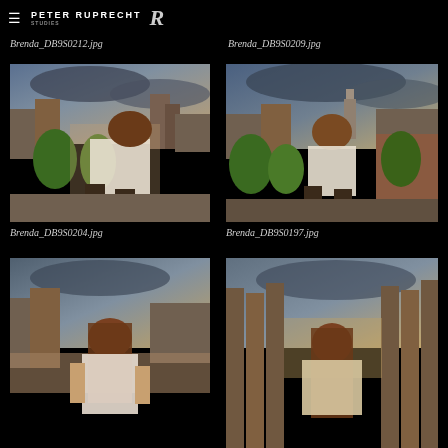Peter Ruprecht
Brenda_DB9S0212.jpg
Brenda_DB9S0209.jpg
[Figure (photo): Woman in white sweater and dark boots sitting on rooftop with city skyline behind her, green trees visible, warm golden light]
[Figure (photo): Woman in white sweater standing on rooftop with NYC cityscape and cloudy sky behind her, green trees visible]
Brenda_DB9S0204.jpg
Brenda_DB9S0197.jpg
[Figure (photo): Woman with long hair on rooftop, NYC skyline in background, warm golden hour light, partially visible]
[Figure (photo): Woman with long hair on rooftop, city view behind her, warm tones, partially visible at bottom of page]